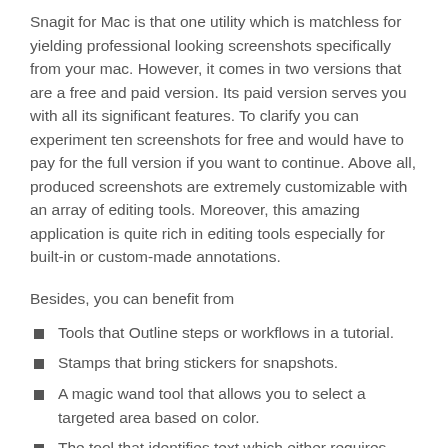Snagit for Mac is that one utility which is matchless for yielding professional looking screenshots specifically from your mac. However, it comes in two versions that are a free and paid version. Its paid version serves you with all its significant features. To clarify you can experiment ten screenshots for free and would have to pay for the full version if you want to continue. Above all, produced screenshots are extremely customizable with an array of editing tools. Moreover, this amazing application is quite rich in editing tools especially for built-in or custom-made annotations.
Besides, you can benefit from
Tools that Outline steps or workflows in a tutorial.
Stamps that bring stickers for snapshots.
A magic wand tool that allows you to select a targeted area based on color.
The tool that identifies text which either requires editing in font, size, or color or complete replacement.